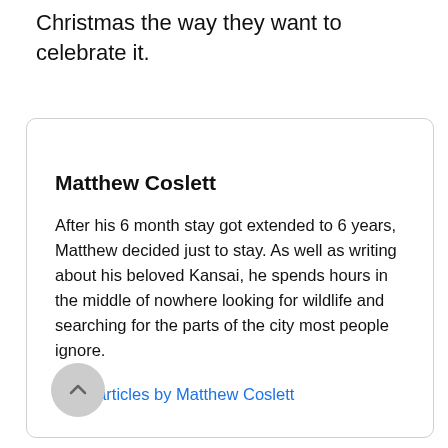Christmas the way they want to celebrate it.
Matthew Coslett
After his 6 month stay got extended to 6 years, Matthew decided just to stay. As well as writing about his beloved Kansai, he spends hours in the middle of nowhere looking for wildlife and searching for the parts of the city most people ignore.
More articles by Matthew Coslett